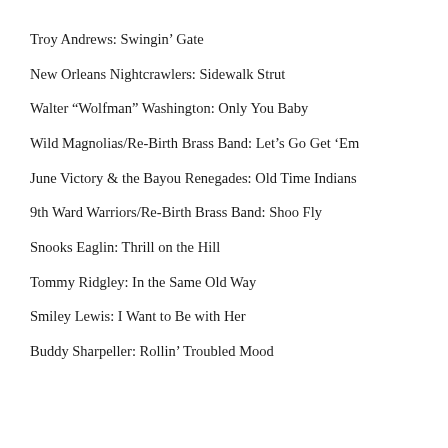Troy Andrews: Swingin’ Gate
New Orleans Nightcrawlers: Sidewalk Strut
Walter “Wolfman” Washington: Only You Baby
Wild Magnolias/Re-Birth Brass Band: Let’s Go Get ‘Em
June Victory & the Bayou Renegades: Old Time Indians
9th Ward Warriors/Re-Birth Brass Band: Shoo Fly
Snooks Eaglin: Thrill on the Hill
Tommy Ridgley: In the Same Old Way
Smiley Lewis: I Want to Be with Her
Buddy Sharpeller: Rollin’ Troubled Mood